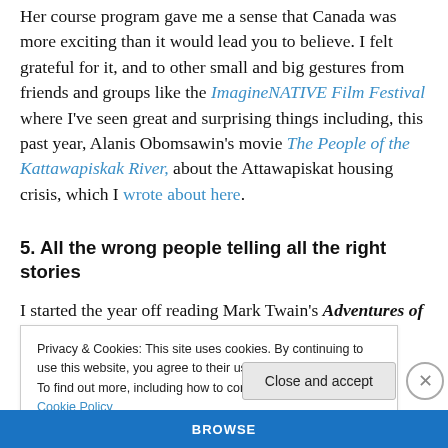Her course program gave me a sense that Canada was more exciting than it would lead you to believe. I felt grateful for it, and to other small and big gestures from friends and groups like the ImagineNATIVE Film Festival where I've seen great and surprising things including, this past year, Alanis Obomsawin's movie The People of the Kattawapiskak River, about the Attawapiskat housing crisis, which I wrote about here.
5. All the wrong people telling all the right stories
I started the year off reading Mark Twain's Adventures of
Privacy & Cookies: This site uses cookies. By continuing to use this website, you agree to their use.
To find out more, including how to control cookies, see here: Cookie Policy